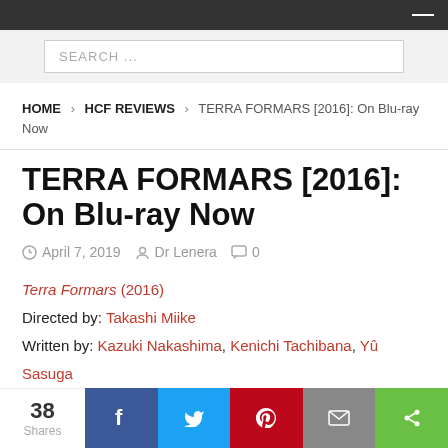Navigation bar (dark)
SEARCH ...
HOME > HCF REVIEWS > TERRA FORMARS [2016]: On Blu-ray Now
TERRA FORMARS [2016]: On Blu-ray Now
April 7, 2019  Dr Lenera  0
Terra Formars (2016)
Directed by: Takashi Miike
Written by: Kazuki Nakashima, Kenichi Tachibana, Yû Sasuga
38 Shares